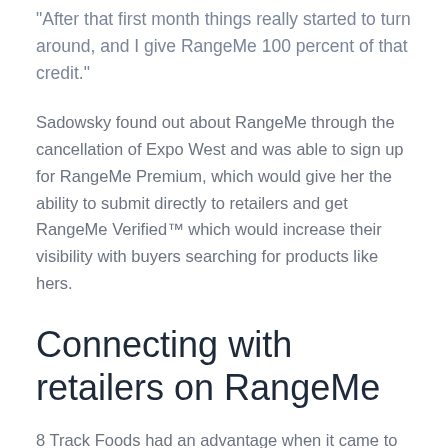“After that first month things really started to turn around, and I give RangeMe 100 percent of that credit.”
Sadowsky found out about RangeMe through the cancellation of Expo West and was able to sign up for RangeMe Premium, which would give her the ability to submit directly to retailers and get RangeMe Verified™ which would increase their visibility with buyers searching for products like hers.
Connecting with retailers on RangeMe
8 Track Foods had an advantage when it came to the